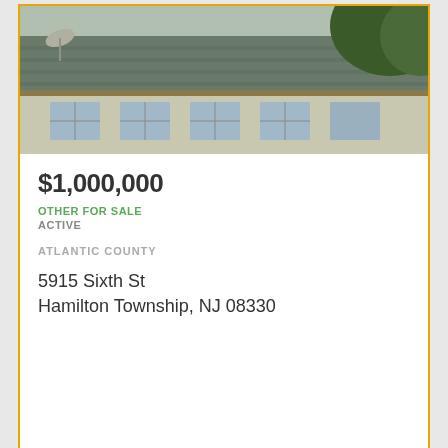[Figure (photo): Exterior photo of a house showing roofline, windows, and trees — top listing]
$1,000,000
OTHER FOR SALE
ACTIVE
ATLANTIC COUNTY
5915 Sixth St
Hamilton Township, NJ 08330
[Figure (photo): Exterior street view photo showing trees, power lines, a small house with dark roof, blue shutters — bottom listing with navigation arrows]